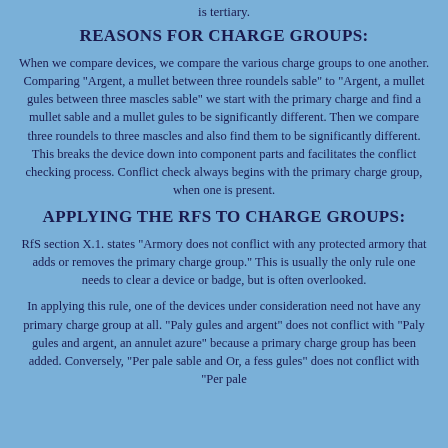is tertiary.
REASONS FOR CHARGE GROUPS:
When we compare devices, we compare the various charge groups to one another. Comparing "Argent, a mullet between three roundels sable" to "Argent, a mullet gules between three mascles sable" we start with the primary charge and find a mullet sable and a mullet gules to be significantly different. Then we compare three roundels to three mascles and also find them to be significantly different. This breaks the device down into component parts and facilitates the conflict checking process. Conflict check always begins with the primary charge group, when one is present.
APPLYING THE RFS TO CHARGE GROUPS:
RfS section X.1. states "Armory does not conflict with any protected armory that adds or removes the primary charge group." This is usually the only rule one needs to clear a device or badge, but is often overlooked.
In applying this rule, one of the devices under consideration need not have any primary charge group at all. "Paly gules and argent" does not conflict with "Paly gules and argent, an annulet azure" because a primary charge group has been added. Conversely, "Per pale sable and Or, a fess gules" does not conflict with "Per pale